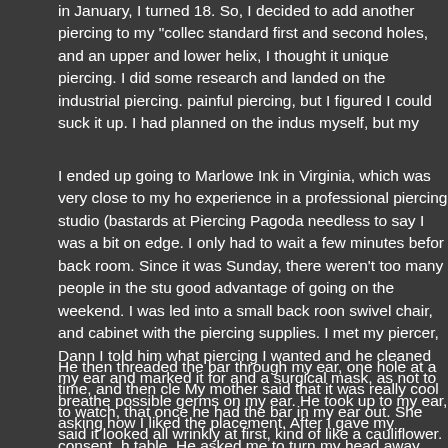in January, I turned 18. So, I decided to add another piercing to my "collec standard first and second holes, and an upper and lower helix, I thought it unique piercing. I did some research and landed on the industrial piercing. painful piercing, but I figured I could suck it up. I had planned on the indu myself, but my mother insisted on paying for it :) I asked my friend Brittney she had wanted her nose pierced, she agreed she would.
I ended up going to Marlowe Ink in Virginia, which was very close to my ho experience in a professional piercing studio (bastards at Piercing Pagoda needless to say I was a bit on edge. I only had to wait a few minutes befor back room. Since it was Sunday, there weren't too many people in the stu good advantage of going on the weekend. I was led into a small back roo swivel chair, and cabinet with the piercing supplies. I met my piercer, Dan I told him what piercing I wanted and he cleaned my ear and marked it fo and a surgical mask, as not to breathe possible germs on my ear. He too up to my ear, asking how I liked the placement. After I gave my consent, table. He asked me to turn my head away from him so that my left ear wa the needles and tools were clean and in their separate packaging and ch he started. He took a receiving tube and placed it on the outside of my ea would come through. He talked me through it, saying "Okay, going in now and "In again" as he pierced the second hole. Now, I should say here tha for pain.. But this piercing didn't hurt in the slightest. There was a little pre through the cartilage, but nothing painful.
He then threaded the bar through my ear, one hole at a time, and then cl My mother said that it was really cool to watch, that once he had the bar my ear out. She said it looked all wrinkly at first, kind of like a cauliflower. appreciated it and got up from the table. As Brittney was getting her nos started to faint. Danny was there on the other side of the table, though, t